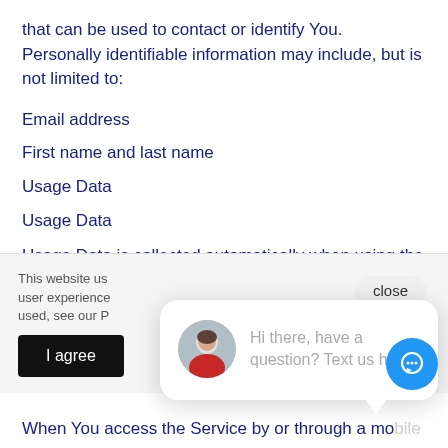that can be used to contact or identify You. Personally identifiable information may include, but is not limited to:
Email address
First name and last name
Usage Data
Usage Data
Usage Data is collected automatically when using the Service.
This website us... user experience... used, see our P...
I agree
[Figure (screenshot): Chat widget popup with avatar and message: Hi there, have a question? Text us here.]
When You access the Service by or through a mobile device, We may collect certain information automatically,